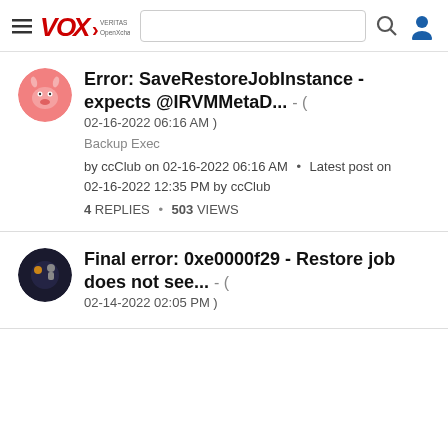VOX VERITAS OpenXchange — navigation header with search bar and user icon
Error: SaveRestoreJobInstance - expects @IRVMMetaD... - ( 02-16-2022 06:16 AM )
Backup Exec
by ccClub on 02-16-2022 06:16 AM  •  Latest post on 02-16-2022 12:35 PM by ccClub
4 REPLIES  •  503 VIEWS
Final error: 0xe0000f29 - Restore job does not see... - ( 02-14-2022 02:05 PM )